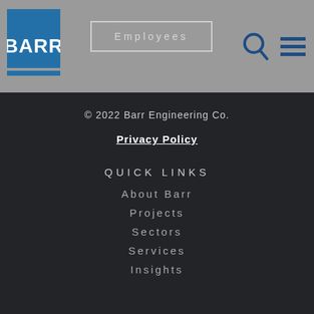[Figure (logo): Barr Engineering Co. logo — blue rectangle with BARR text and blue underline]
Employees
[Figure (other): Search icon (magnifying glass) and hamburger menu icon]
© 2022 Barr Engineering Co.
Privacy Policy
QUICK LINKS
About Barr
Projects
Sectors
Services
Insights